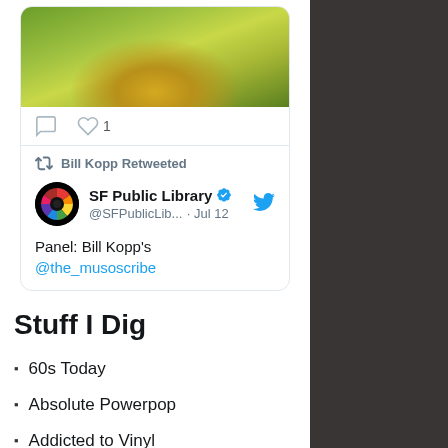[Figure (screenshot): Twitter/social media screenshot showing a tweet card with a landscape image (terraced rice fields with yellow-green hues), like and comment icons, a retweet by Bill Kopp, and SF Public Library tweet mentioning @the_musoscribe]
Stuff I Dig
60s Today
Absolute Powerpop
Addicted to Vinyl
Albums That Never Were
All Music Guide
Big Plans for Everybody